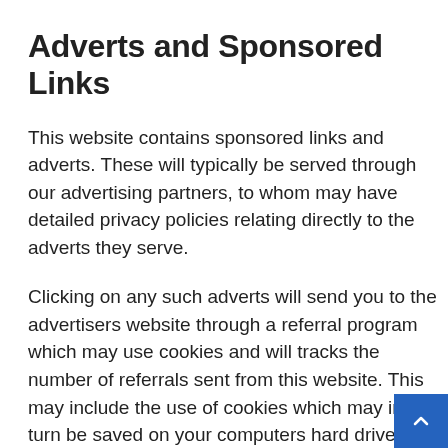Adverts and Sponsored Links
This website contains sponsored links and adverts. These will typically be served through our advertising partners, to whom may have detailed privacy policies relating directly to the adverts they serve.
Clicking on any such adverts will send you to the advertisers website through a referral program which may use cookies and will tracks the number of referrals sent from this website. This may include the use of cookies which may in turn be saved on your computers hard drive. Users should therefore note they click on sponsored external links at their own risk and this website and it's owners cannot be held liable for any damages implications caused by visiting any external links